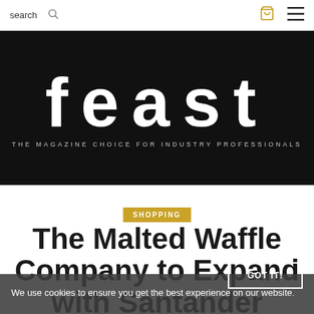search  [search icon]  [cart icon]  [menu icon]
[Figure (logo): Feast magazine logo — large white bold lowercase 'feast' on black background with subtitle 'THE MAGAZINE CHOICE FOR INDUSTRY PROFESSIONALS']
SHOPPING
The Malted Waffle Company to Expand with Santander
We use cookies to ensure you get the best experience on our website.
GOT IT!